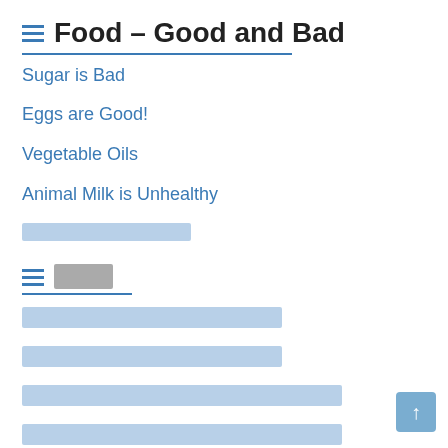Food – Good and Bad
Sugar is Bad
Eggs are Good!
Vegetable Oils
Animal Milk is Unhealthy
[redacted text]
[redacted title]
[redacted link 1]
[redacted link 2]
[redacted link 3]
[redacted link 4]